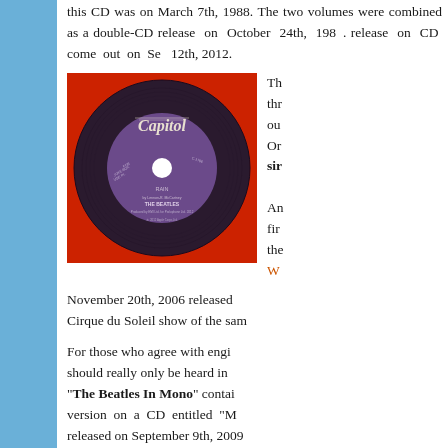this CD was on March 7th, 1988. The two volumes were combined as a double-CD release on October 24th, 1988. A rerelease on CD come out on September 12th, 2012.
[Figure (photo): Capitol Records vinyl single with purple label showing 'RAIN' by The Beatles on a red background]
The... through... our... On... single...
An... first... the... W...
November 20th, 2006 released... Cirque du Soleil show of the same...
For those who agree with engi... should really only be heard in... "The Beatles In Mono" contai... version on a CD entitled "M... released on September 9th, 2009...
[Figure (photo): Beatles album cover, dark background with The Beatles text]
Also released on... remastered Beat...